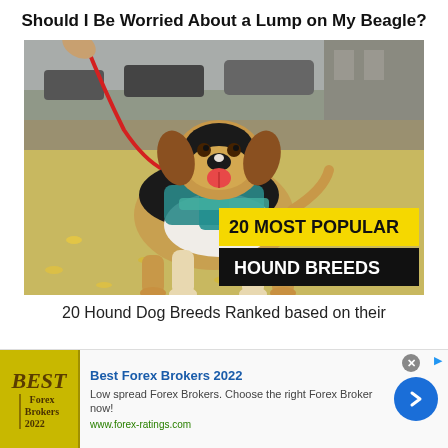Should I Be Worried About a Lump on My Beagle?
[Figure (photo): A beagle dog wearing a teal harness on a red leash, standing on a sidewalk with yellow flower petals on the ground. Overlaid text badges read '20 MOST POPULAR' in yellow and 'HOUND BREEDS' in white on black.]
20 Hound Dog Breeds Ranked based on their
[Figure (infographic): Advertisement banner for Best Forex Brokers 2022. Shows a yellow/gold logo with 'BEST Forex Brokers 2022', ad title 'Best Forex Brokers 2022', body text 'Low spread Forex Brokers. Choose the right Forex Broker now!', URL 'www.forex-ratings.com', and a blue circular arrow button.]